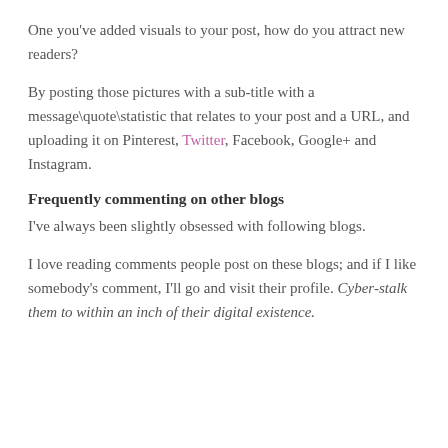One you've added visuals to your post, how do you attract new readers?
By posting those pictures with a sub-title with a message\quote\statistic that relates to your post and a URL, and uploading it on Pinterest, Twitter, Facebook, Google+ and Instagram.
Frequently commenting on other blogs
I've always been slightly obsessed with following blogs.
I love reading comments people post on these blogs; and if I like somebody's comment, I'll go and visit their profile. Cyber-stalk them to within an inch of their digital existence.